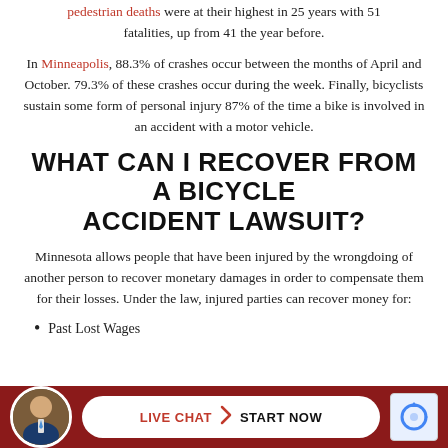2021 pedestrian deaths were at their highest in 25 years with 51 fatalities, up from 41 the year before.
In Minneapolis, 88.3% of crashes occur between the months of April and October. 79.3% of these crashes occur during the week. Finally, bicyclists sustain some form of personal injury 87% of the time a bike is involved in an accident with a motor vehicle.
WHAT CAN I RECOVER FROM A BICYCLE ACCIDENT LAWSUIT?
Minnesota allows people that have been injured by the wrongdoing of another person to recover monetary damages in order to compensate them for their losses. Under the law, injured parties can recover money for:
Past Lost Wages